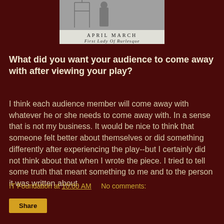[Figure (photo): Top portion of a book cover for 'APRIL MARCH First Lady Of Burlesque' showing a black and white photograph above a light band with the title text.]
What did you want your audience to come away with after viewing your play?
I think each audience member will come away with whatever he or she needs to come away with. In a sense that is not my business. It would be nice to think that someone felt better about themselves or did something differently after experiencing the play--but I certainly did not think about that when I wrote the piece. I tried to tell some truth that meant something to me and to the person it was written about.
IT Foundation at 10:00 AM    No comments:
Share